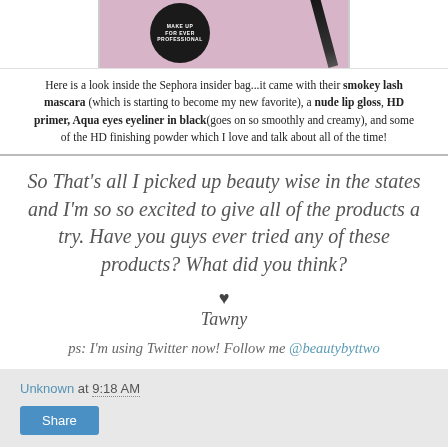[Figure (photo): Photo showing a black compact makeup container labeled MAKE UP FOR EVER PROFESSIONAL and a black mascara wand on a pink/mauve background]
Here is a look inside the Sephora insider bag...it came with their smokey lash mascara (which is starting to become my new favorite), a nude lip gloss, HD primer, Aqua eyes eyeliner in black(goes on so smoothly and creamy), and some of the HD finishing powder which I love and talk about all of the time!
So That's all I picked up beauty wise in the states and I'm so so excited to give all of the products a try. Have you guys ever tried any of these products? What did you think?
♥
Tawny
ps: I'm using Twitter now! Follow me @beautybyttwo
Unknown at 9:18 AM
Share